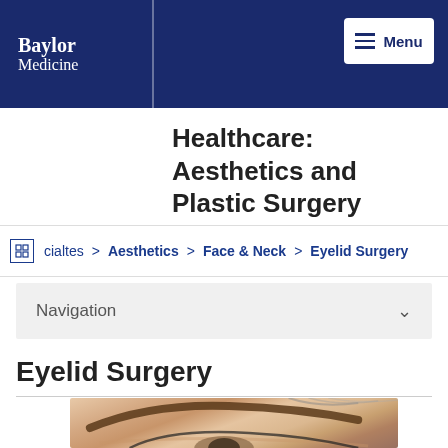Baylor Medicine
Healthcare: Aesthetics and Plastic Surgery
cialtes > Aesthetics > Face & Neck > Eyelid Surgery
Navigation
Eyelid Surgery
[Figure (photo): Close-up photograph of a woman's eye area showing the eyebrow and eyelid, relevant to eyelid surgery content]